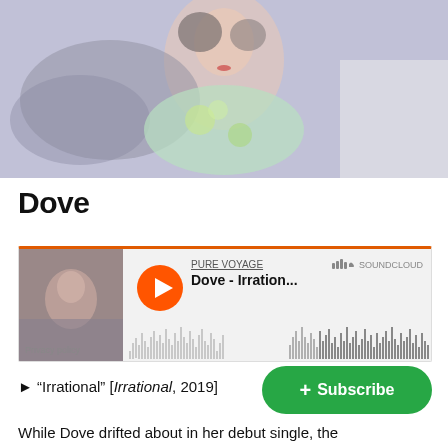[Figure (photo): Young Asian woman reclining, wearing a light green floral top, with grey fluffy fabric around her, lavender background.]
Dove
[Figure (screenshot): SoundCloud embedded player showing PURE VOYAGE channel, track: Dove - Irrational..., with orange play button and waveform. Privacy policy text at lower left.]
"Irrational" [Irrational, 2019]
While Dove drifted about in her debut single, the